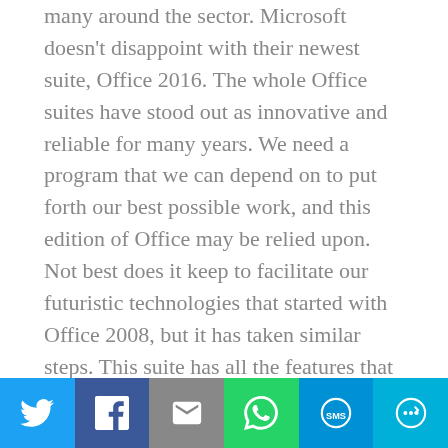many around the sector. Microsoft doesn't disappoint with their newest suite, Office 2016. The whole Office suites have stood out as innovative and reliable for many years. We need a program that we can depend on to put forth our best possible work, and this edition of Office may be relied upon. Not best does it keep to facilitate our futuristic technologies that started with Office 2008, but it has taken similar steps. This suite has all the features that we recognize and love, alongside a few new ones, and it also has built-in security. There are many threats in our online world, and they grow in number every day, as we use our devices more and more. Office 2016
[Figure (other): Social sharing bar with six buttons: Twitter (blue), Facebook (dark blue), Email (gray), WhatsApp (green), SMS (blue), More/share (cyan)]